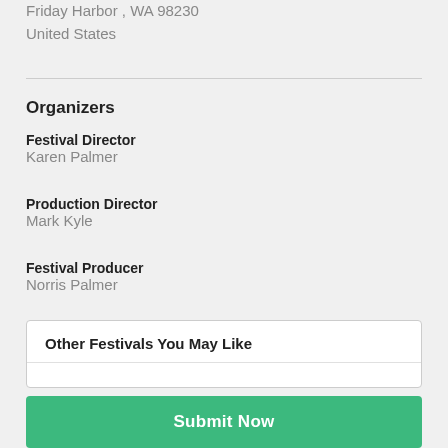Friday Harbor , WA 98230
United States
Organizers
Festival Director
Karen Palmer
Production Director
Mark Kyle
Festival Producer
Norris Palmer
Other Festivals You May Like
[Figure (logo): Hollywood festival logo showing HOLLY WOOD text in bold black with a red bracket corner mark]
Submit Now